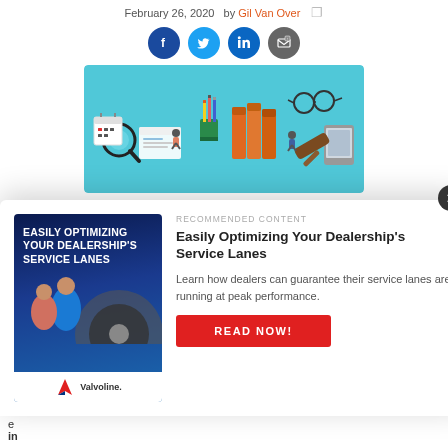February 26, 2020  by Gil Van Over
[Figure (illustration): Social media sharing icons: Facebook (blue circle), Twitter (light blue circle), LinkedIn (dark blue circle), Email/share (grey circle)]
[Figure (illustration): Hero illustration on teal background showing office/legal items: magnifying glass, calendar, pencils in cup, orange binders/folders, glasses, phone, gavel, small figures of people]
[Figure (other): Advertisement popup/modal overlay: Left side shows promotional image for Valvoline 'Easily Optimizing Your Dealership's Service Lanes' with dark blue background and two people working on a car. Right side shows 'RECOMMENDED CONTENT' label, title 'Easily Optimizing Your Dealership's Service Lanes', description 'Learn how dealers can guarantee their service lanes are running at peak performance.', and a red 'READ NOW!' button. Close (X) button in top right corner.]
A e in